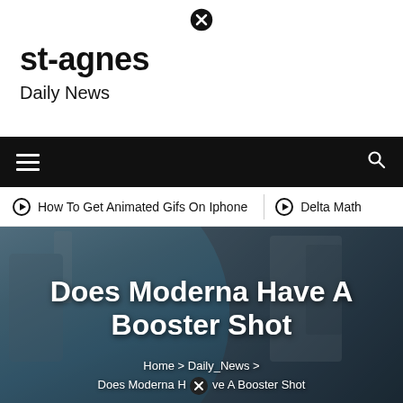⊗ (close button)
st-agnes
Daily News
[Figure (screenshot): Black navigation bar with hamburger menu icon on left and search icon on right]
⊙ How To Get Animated Gifs On Iphone   ⊙ Delta Math
[Figure (photo): Medical professional in blue scrubs, face shield, and hair covering working in a laboratory setting. Overlaid bold white text reads: Does Moderna Have A Booster Shot. Breadcrumb below: Home > Daily_News > Does Moderna Have A Booster Shot]
Does Moderna Have A Booster Shot
Home > Daily_News > Does Moderna Have A Booster Shot